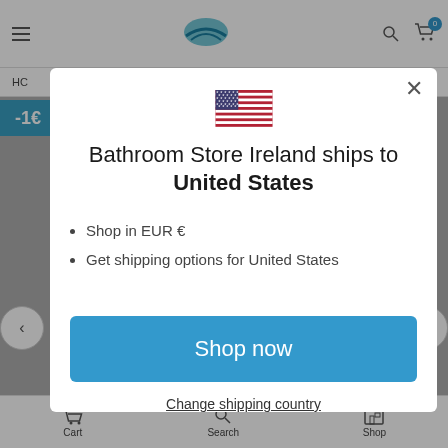[Figure (screenshot): Background of a website (Bathroom Store Ireland) with header, navigation, and bottom bar visible behind a modal dialog overlay.]
Bathroom Store Ireland ships to United States
Shop in EUR €
Get shipping options for United States
Shop now
Change shipping country